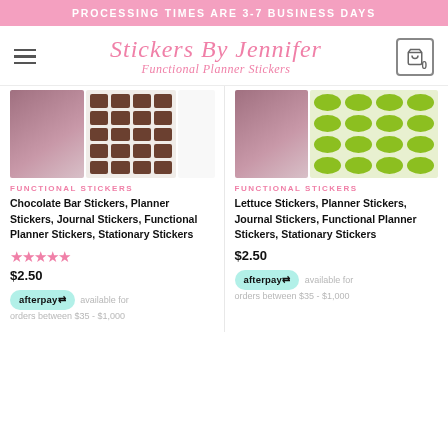PROCESSING TIMES ARE 3-7 BUSINESS DAYS
[Figure (screenshot): Stickers By Jennifer website header with hamburger menu, logo, and cart icon showing 0 items]
[Figure (photo): Chocolate Bar Stickers product photo showing brown chocolate sticker sheets]
FUNCTIONAL STICKERS
Chocolate Bar Stickers, Planner Stickers, Journal Stickers, Functional Planner Stickers, Stationary Stickers
★★★★★ $2.50
afterpay available for orders between $35 - $1,000
[Figure (photo): Lettuce Stickers product photo showing green round emoji sticker sheets]
FUNCTIONAL STICKERS
Lettuce Stickers, Planner Stickers, Journal Stickers, Functional Planner Stickers, Stationary Stickers
$2.50
afterpay available for orders between $35 - $1,000